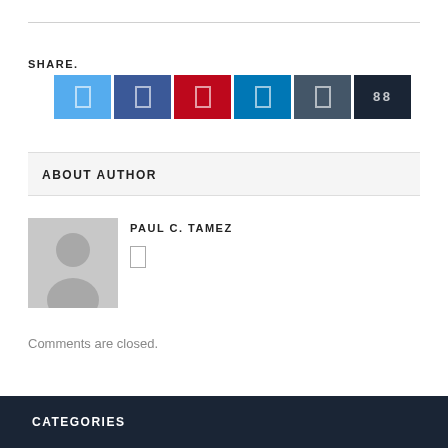SHARE.
[Figure (other): Six social share buttons: Twitter (blue), Facebook (dark blue), Pinterest (red), LinkedIn (teal blue), Tumblr (dark slate), and a share count button (dark navy) showing '88']
ABOUT AUTHOR
[Figure (photo): Generic author avatar placeholder showing a grey silhouette of a person on a grey background]
PAUL C. TAMEZ
Comments are closed.
CATEGORIES